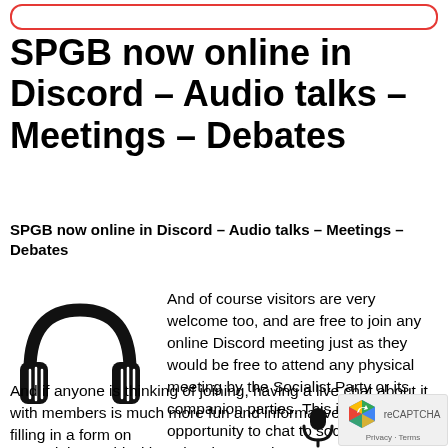SPGB now online in Discord – Audio talks – Meetings – Debates
SPGB now online in Discord – Audio talks – Meetings – Debates
And of course visitors are very welcome too, and are free to join any online Discord meeting just as they would be free to attend any physical meeting by the Socialist Party or its companion parties. This is a great opportunity to chat to socialists from around the world without leaving your house!
And if anyone is thinking of joining, having a live chat about it with members is much more fun and informative than simply filling in a form on